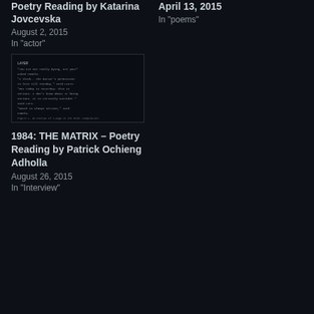Poetry Reading by Katarina Jovcevska
August 2, 2015
In "actor"
April 13, 2015
In "poems"
[Figure (screenshot): Dark terminal/text screenshot showing a passage of text with the heading LAYER, appearing to be a literary excerpt or poem.]
1984: THE MATRIX – Poetry Reading by Patrick Ochieng Adholla
August 26, 2015
In "Interview"